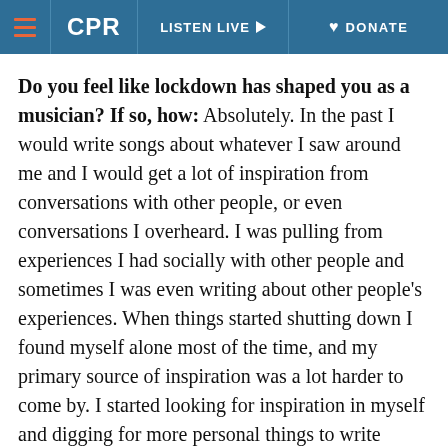CPR | LISTEN LIVE | DONATE
Do you feel like lockdown has shaped you as a musician? If so, how: Absolutely. In the past I would write songs about whatever I saw around me and I would get a lot of inspiration from conversations with other people, or even conversations I overheard. I was pulling from experiences I had socially with other people and sometimes I was even writing about other people's experiences. When things started shutting down I found myself alone most of the time, and my primary source of inspiration was a lot harder to come by. I started looking for inspiration in myself and digging for more personal things to write about, and started making songs that felt much more